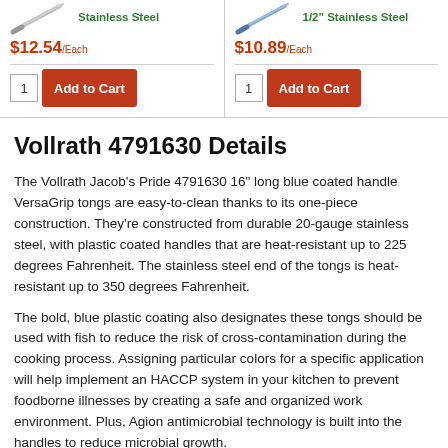[Figure (photo): Product image of stainless steel tongs on left column]
Stainless Steel
$12.54/Each
1 | Add to Cart
[Figure (photo): Product image of 1/2" stainless steel tongs on right column]
1/2" Stainless Steel
$10.89/Each
1 | Add to Cart
Vollrath 4791630 Details
The Vollrath Jacob's Pride 4791630 16" long blue coated handle VersaGrip tongs are easy-to-clean thanks to its one-piece construction. They're constructed from durable 20-gauge stainless steel, with plastic coated handles that are heat-resistant up to 225 degrees Fahrenheit. The stainless steel end of the tongs is heat-resistant up to 350 degrees Fahrenheit.
The bold, blue plastic coating also designates these tongs should be used with fish to reduce the risk of cross-contamination during the cooking process. Assigning particular colors for a specific application will help implement an HACCP system in your kitchen to prevent foodborne illnesses by creating a safe and organized work environment. Plus, Agion antimicrobial technology is built into the handles to reduce microbial growth.